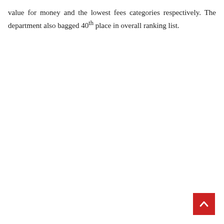value for money and the lowest fees categories respectively. The department also bagged 40th place in overall ranking list.